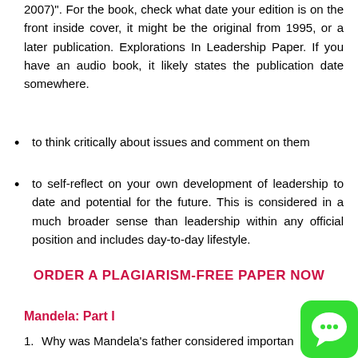2007)". For the book, check what date your edition is on the front inside cover, it might be the original from 1995, or a later publication. Explorations In Leadership Paper. If you have an audio book, it likely states the publication date somewhere.
to think critically about issues and comment on them
to self-reflect on your own development of leadership to date and potential for the future. This is considered in a much broader sense than leadership within any official position and includes day-to-day lifestyle.
ORDER A PLAGIARISM-FREE PAPER NOW
Mandela: Part I
Why was Mandela's father considered important in the community?